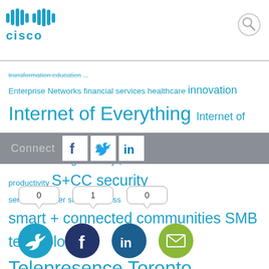Cisco logo and search icon
transformation education ... Enterprise Networks financial services healthcare innovation Internet of Everything Internet of Things IoE IoT Jabber manufacturing mobility partners productivity S+CC security service provider small business smart + connected communities SMB technology Telepresence Toronto transformation Unified Communications video Webex wireless
Connect [Facebook] [Twitter] [LinkedIn] | Share counts: 0, 1, 0 | Social share icons: Twitter, Facebook, LinkedIn, Email